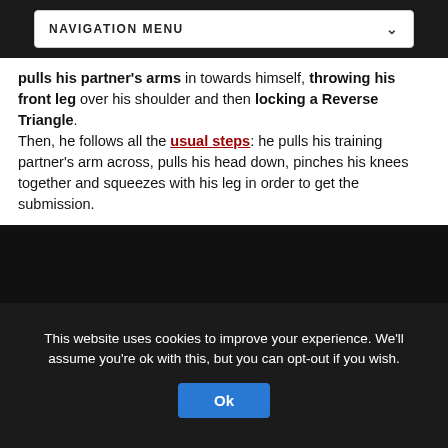NAVIGATION MENU
pulls his partner's arms in towards himself, throwing his front leg over his shoulder and then locking a Reverse Triangle. Then, he follows all the usual steps: he pulls his training partner's arm across, pulls his head down, pinches his knees together and squeezes with his leg in order to get the submission.
Watch the video below to see Keenan explaining this setup in detail!
[Figure (screenshot): Dark video player placeholder area]
This website uses cookies to improve your experience. We'll assume you're ok with this, but you can opt-out if you wish.